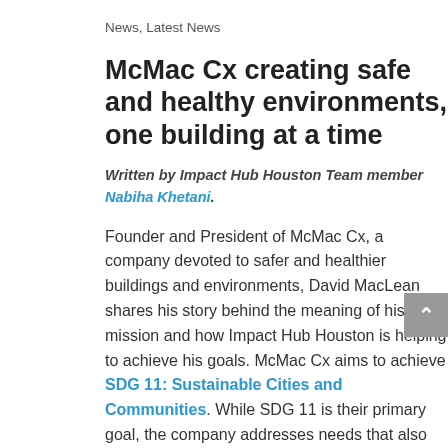News, Latest News
McMac Cx creating safe and healthy environments, one building at a time
Written by Impact Hub Houston Team member Nabiha Khetani.
Founder and President of McMac Cx, a company devoted to safer and healthier buildings and environments, David MacLean shares his story behind the meaning of his mission and how Impact Hub Houston is helping to achieve his goals. McMac Cx aims to achieve SDG 11: Sustainable Cities and Communities. While SDG 11 is their primary goal, the company addresses needs that also target SDG 4: Quality Education and SDG 9: Industry, Innovation, and Infrastructure.
David joined the Accelerate Membership Program to increase his knowledge on branding and marketing to